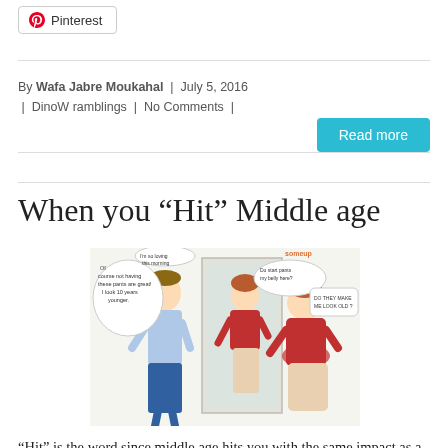Pinterest
By Wafa Jabre Moukahal  |  July 5, 2016  |  DinoW ramblings  |  No Comments  |
Read more
When you “Hit” Middle age
[Figure (illustration): Comic illustration showing a man and a woman looking in a mirror, with speech bubbles. The woman sees herself as heavier in the reflection. Speech bubbles include text about pants and age.]
“Hit” is the word since middle age hits you with the same impact as a hurricane, tornado or cyclone….It engulfs you and knocks you out! Dizzy, shocked, bereft of words to describe the feelings that